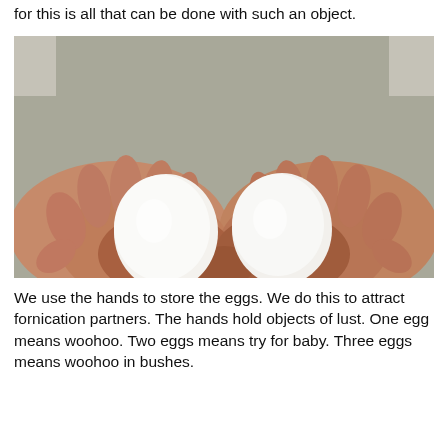for this is all that can be done with such an object.
[Figure (photo): Two cupped hands holding two white eggs against a grey background.]
We use the hands to store the eggs. We do this to attract fornication partners. The hands hold objects of lust. One egg means woohoo. Two eggs means try for baby. Three eggs means woohoo in bushes.